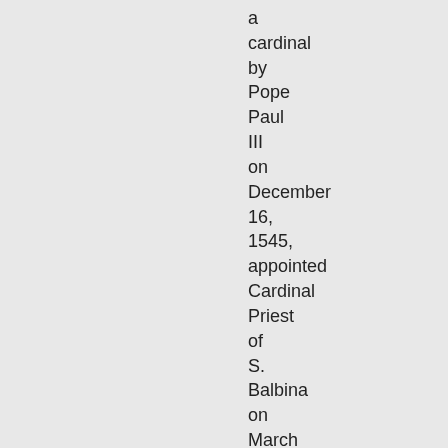a cardinal by Pope Paul III on December 16, 1545, appointed Cardinal Priest of S. Balbina on March 10, 1550. Promoted Cardinal Bishop of Albano (1557-1560) on September 20,